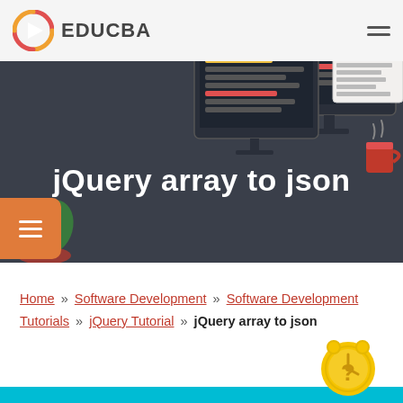EDUCBA
jQuery array to json
Home » Software Development » Software Development Tutorials » jQuery Tutorial » jQuery array to json